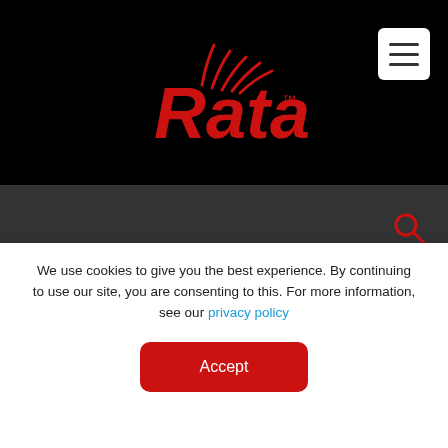[Figure (logo): Rata logo in red with stylized antenna lines above letters on black background]
[Figure (other): Hamburger menu button (three horizontal lines) in white box, top right corner]
[Figure (other): Dark grey search bar with red magnifying glass icon on right]
Topics
Working Smarter (35)
Tips, Hacks & How To's (30)
Pasture & Crop Management (35)
We use cookies to give you the best experience. By continuing to use our site, you are consenting to this. For more information, see our privacy policy
Accept